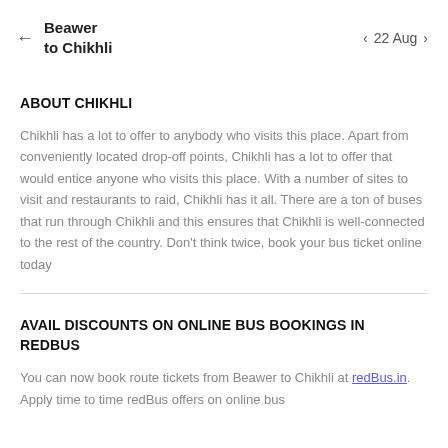← Beawer to Chikhli  ‹ 22 Aug ›
ABOUT CHIKHLI
Chikhli has a lot to offer to anybody who visits this place. Apart from conveniently located drop-off points, Chikhli has a lot to offer that would entice anyone who visits this place. With a number of sites to visit and restaurants to raid, Chikhli has it all. There are a ton of buses that run through Chikhli and this ensures that Chikhli is well-connected to the rest of the country. Don't think twice, book your bus ticket online today
AVAIL DISCOUNTS ON ONLINE BUS BOOKINGS IN REDBUS
You can now book route tickets from Beawer to Chikhli at redBus.in. Apply time to time redBus offers on online bus